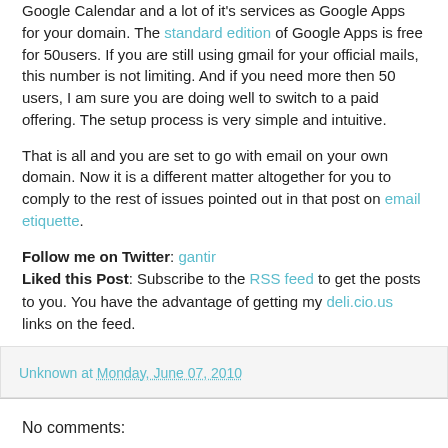Google Calendar and a lot of it's services as Google Apps for your domain. The standard edition of Google Apps is free for 50users. If you are still using gmail for your official mails, this number is not limiting. And if you need more then 50 users, I am sure you are doing well to switch to a paid offering. The setup process is very simple and intuitive.
That is all and you are set to go with email on your own domain. Now it is a different matter altogether for you to comply to the rest of issues pointed out in that post on email etiquette.
Follow me on Twitter: gantir
Liked this Post: Subscribe to the RSS feed to get the posts to you. You have the advantage of getting my deli.cio.us links on the feed.
Unknown at Monday, June 07, 2010
No comments: